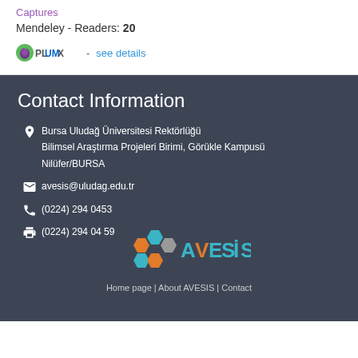Captures
Mendeley - Readers: 20
[Figure (logo): PlumX logo followed by 'see details' link]
Contact Information
Bursa Uludağ Üniversitesi Rektörlüğü
Bilimsel Araştırma Projeleri Birimi, Görükle Kampusü
Nilüfer/BURSA
avesis@uludag.edu.tr
(0224) 294 0453
(0224) 294 04 59
[Figure (logo): AVESIS logo with colorful hexagonal icons]
Home page | About AVESIS | Contact